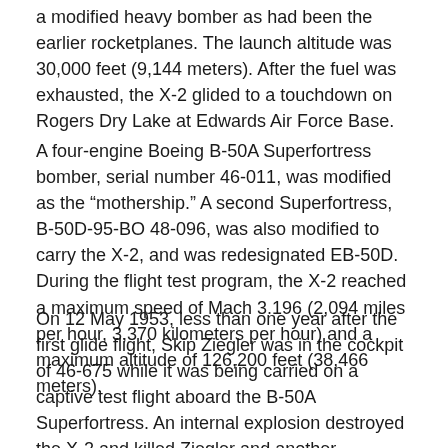a modified heavy bomber as had been the earlier rocketplanes. The launch altitude was 30,000 feet (9,144 meters). After the fuel was exhausted, the X-2 glided to a touchdown on Rogers Dry Lake at Edwards Air Force Base.
A four-engine Boeing B-50A Superfortress bomber, serial number 46-011, was modified as the “mothership.” A second Superfortress, B-50D-95-BO 48-096, was also modified to carry the X-2, and was redesignated EB-50D. During the flight test program, the X-2 reached a maximum speed of Mach 3.196 (2,094 miles per hour, 3,370 kilometers per hour) and a maximum altitude of 126,200 feet (38,466 meters).
On 12 May 1953, less than one year after the first glide flight, Skip Ziegler was in the cockpit of 46-675 while it was being carried on a captive test flight aboard the B-50A Superfortress. An internal explosion destroyed the X-2 and killed Ziegler and another crewman aboard the mothership. The rocketplane fell into Lake Ontario and